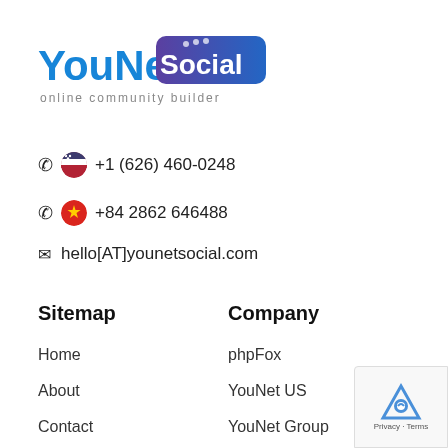[Figure (logo): YouNet Social logo with 'online community builder' tagline]
📞 🇺🇸 +1 (626) 460-0248
📞 🇻🇳 +84 2862 646488
✉ hello[AT]younetsocial.com
Sitemap
Company
Home
phpFox
About
YouNet US
Contact
YouNet Group
Our Offices
US: 9741 Bolsa Avenue, Suite 201, Westminster, CA